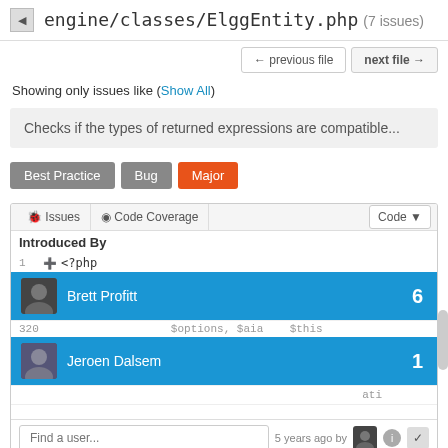engine/classes/ElggEntity.php (7 issues)
← previous file   next file →
Showing only issues like (Show All)
Checks if the types of returned expressions are compatible...
Best Practice
Bug
Major
Issues   Code Coverage   Code
Introduced By
1  <?php
Brett Profitt   6
$options, $aia   $this
Jeroen Dalsem   1
ati
Find a user...   5 years ago by
The expression